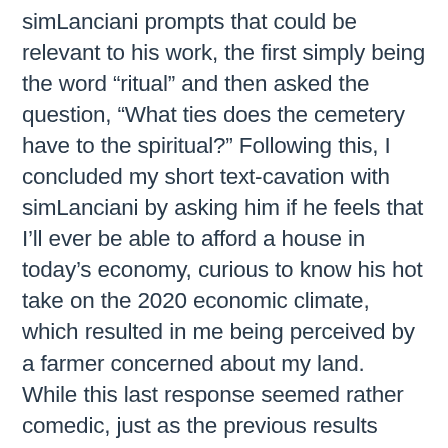simLanciani prompts that could be relevant to his work, the first simply being the word “ritual” and then asked the question, “What ties does the cemetery have to the spiritual?” Following this, I concluded my short text-cavation with simLanciani by asking him if he feels that I’ll ever be able to afford a house in today’s economy, curious to know his hot take on the 2020 economic climate, which resulted in me being perceived by a farmer concerned about my land. While this last response seemed rather comedic, just as the previous results were at times, they still made sense. What simLanciani was producing was not complete nonsense– when I was going over the output, what he was “saying” was akin to something like someone being asked a question they don’t know the answer to but they don’t want to admit